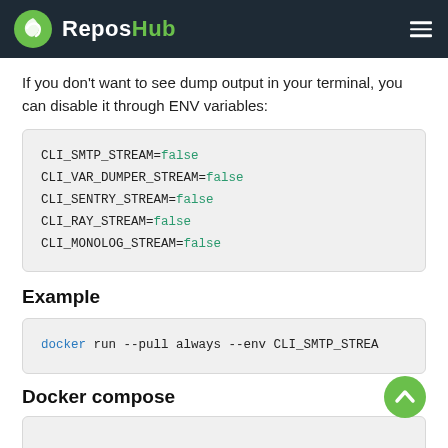ReposHub
If you don't want to see dump output in your terminal, you can disable it through ENV variables:
CLI_SMTP_STREAM=false
CLI_VAR_DUMPER_STREAM=false
CLI_SENTRY_STREAM=false
CLI_RAY_STREAM=false
CLI_MONOLOG_STREAM=false
Example
docker run --pull always --env CLI_SMTP_STREA
Docker compose